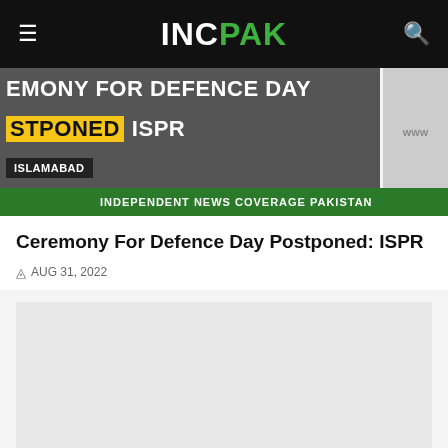INCPAK
[Figure (screenshot): News banner showing headline: CEREMONY FOR DEFENCE DAY POSTPONED ISPR, with Geo News logo and ISLAMABAD tag, and green ticker bar reading INDEPENDENT NEWS COVERAGE PAKISTAN]
Ceremony For Defence Day Postponed: ISPR
AUG 31, 2022
[Figure (photo): Article image placeholder, light grey rectangle]